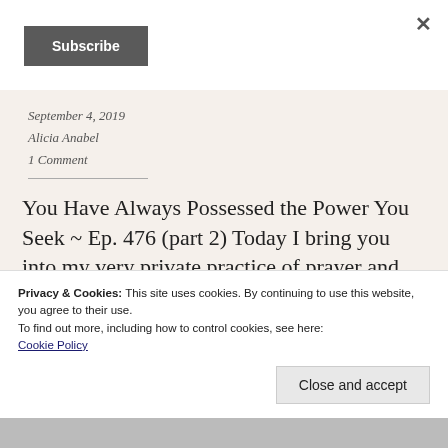×
Subscribe
September 4, 2019
Alicia Anabel
1 Comment
You Have Always Possessed the Power You Seek ~ Ep. 476 (part 2) Today I bring you into my very private practice of prayer and self-love.
Privacy & Cookies: This site uses cookies. By continuing to use this website, you agree to their use.
To find out more, including how to control cookies, see here:
Cookie Policy
Close and accept